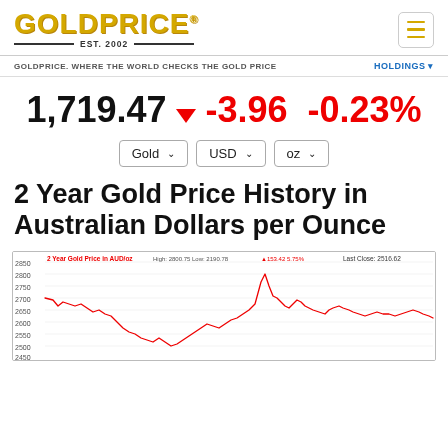[Figure (logo): GoldPrice logo with EST. 2002 text and gold lettering]
GOLDPRICE. WHERE THE WORLD CHECKS THE GOLD PRICE
HOLDINGS
1,719.47 ▼ -3.96 -0.23%
Gold USD oz (dropdowns)
2 Year Gold Price History in Australian Dollars per Ounce
[Figure (line-chart): Line chart showing 2-year gold price history in AUD/oz. High: 2800.75 Low: 2190.78 +153.42 5.75%. Last Close: 2516.62. Y-axis ranges from 2450 to 2850 with gridlines at 2500, 2550, 2600, 2650, 2700, 2750, 2800, 2850.]